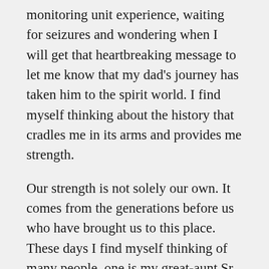monitoring unit experience, waiting for seizures and wondering when I will get that heartbreaking message to let me know that my dad's journey has taken him to the spirit world. I find myself thinking about the history that cradles me in its arms and provides me strength.
Our strength is not solely our own. It comes from the generations before us who have brought us to this place. These days I find myself thinking of many people, one is my great-aunt Sr. Christine.
Sr. Christine was born in 1898 in Wisconsin. She